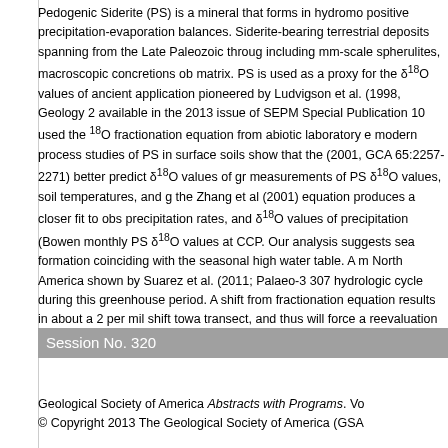Pedogenic Siderite (PS) is a mineral that forms in hydromor positive precipitation-evaporation balances. Siderite-bearing terrestrial deposits spanning from the Late Paleozoic throug including mm-scale spherulites, macroscopic concretions ob matrix. PS is used as a proxy for the δ18O values of ancient application pioneered by Ludvigson et al. (1998, Geology 2 available in the 2013 issue of SEPM Special Publication 10 used the 18O fractionation equation from abiotic laboratory e modern process studies of PS in surface soils show that the (2001, GCA 65:2257-2271) better predict δ18O values of gr measurements of PS δ18O values, soil temperatures, and g the Zhang et al (2001) equation produces a closer fit to obs precipitation rates, and δ18O values of precipitation (Bowen monthly PS δ18O values at CCP. Our analysis suggests sea formation coinciding with the seasonal high water table. A m North America shown by Suarez et al. (2011; Palaeo-3 307 hydrologic cycle during this greenhouse period. A shift from fractionation equation results in about a 2 per mil shift towa transect, and thus will force a reevaluation of the stable isot
Session No. 320
Geological Society of America Abstracts with Programs. Vo © Copyright 2013 The Geological Society of America (GSA